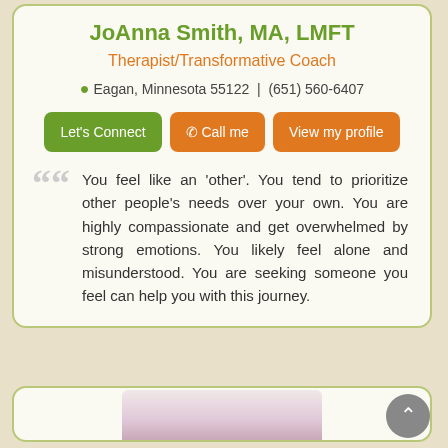JoAnna Smith, MA, LMFT
Therapist/Transformative Coach
Eagan, Minnesota 55122 | (651) 560-6407
Let's Connect | Call me | View my profile
You feel like an 'other'. You tend to prioritize other people's needs over your own. You are highly compassionate and get overwhelmed by strong emotions. You likely feel alone and misunderstood. You are seeking someone you feel can help you with this journey.
[Figure (photo): Partial view of a second therapist profile card with flower photo preview at bottom of page]